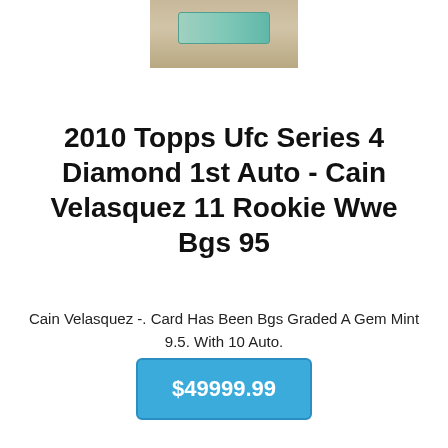[Figure (photo): A graded trading card in a protective case on a sandy/gravelly background, partially cropped at top of page]
2010 Topps Ufc Series 4 Diamond 1st Auto - Cain Velasquez 11 Rookie Wwe Bgs 95
Cain Velasquez -. Card Has Been Bgs Graded A Gem Mint 9.5. With 10 Auto.
$49999.99